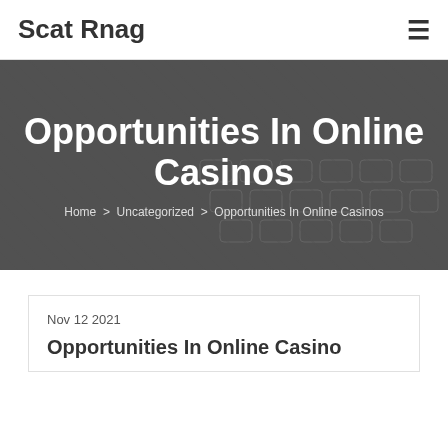Scat Rnag
Opportunities In Online Casinos
Home > Uncategorized > Opportunities In Online Casinos
Nov 12 2021
Opportunities In Online Casinos